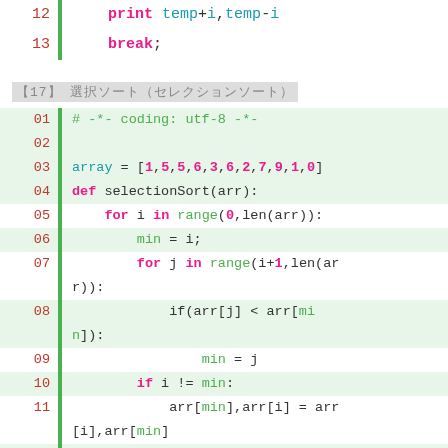[Figure (screenshot): Code snippet lines 12-13 showing print temp+i,temp-i and break; in a syntax-highlighted editor]
【17】 選択ソート
[Figure (screenshot): Python code for selectionSort function, lines 01-14, syntax-highlighted with line numbers and green gutter]